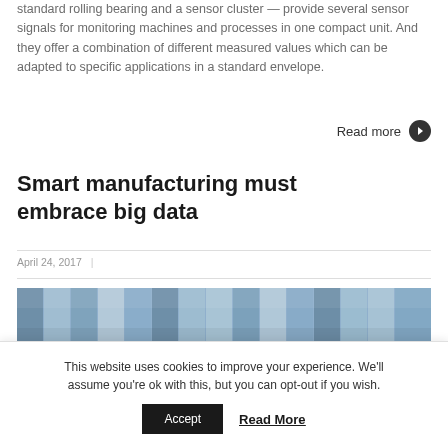standard rolling bearing and a sensor cluster — provide several sensor signals for monitoring machines and processes in one compact unit. And they offer a combination of different measured values which can be adapted to specific applications in a standard envelope.
Read more
Smart manufacturing must embrace big data
April 24, 2017 |
[Figure (photo): Partial view of a photo related to the smart manufacturing article, showing a mosaic/grid of blue-toned images]
This website uses cookies to improve your experience. We'll assume you're ok with this, but you can opt-out if you wish.
Accept  Read More